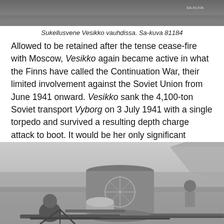[Figure (photo): Top portion of a black and white photograph of submarine Vesikko moving through water, with SA-KUVA watermark visible in upper right corner.]
Sukellusvene Vesikko vauhdissa. Sa-kuva 81184
Allowed to be retained after the tense cease-fire with Moscow, Vesikko again became active in what the Finns have called the Continuation War, their limited involvement against the Soviet Union from June 1941 onward. Vesikko sank the 4,100-ton Soviet transport Vyborg on 3 July 1941 with a single torpedo and survived a resulting depth charge attack to boot. It would be her only significant victory.
[Figure (photo): Black and white photograph showing crew members aboard submarine Vesikko, with the conning tower and anti-aircraft gun equipment visible in the foreground.]